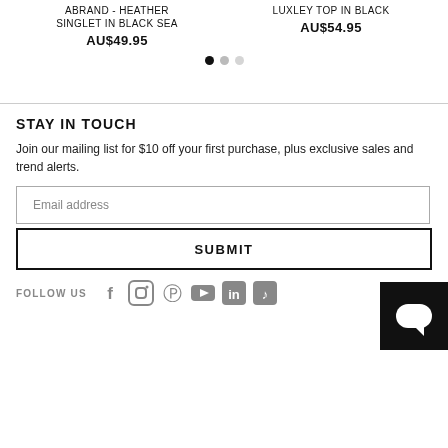ABRAND - HEATHER SINGLET IN BLACK SEA
AU$49.95
LUXLEY TOP IN BLACK
AU$54.95
[Figure (other): Carousel pagination dots: one filled black, two gray]
STAY IN TOUCH
Join our mailing list for $10 off your first purchase, plus exclusive sales and trend alerts.
Email address
SUBMIT
FOLLOW US
[Figure (other): Social media icons: Facebook, Instagram, Pinterest, YouTube, LinkedIn, TikTok]